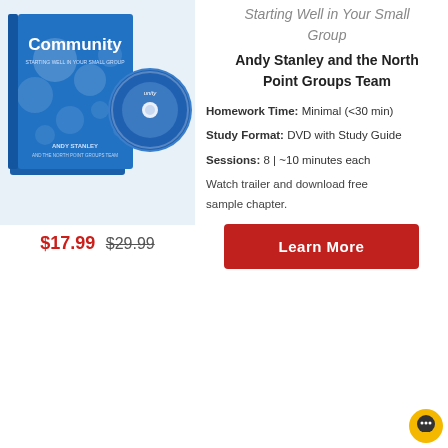[Figure (photo): Product photo of 'Community: Starting Well in Your Small Group' DVD and book set by Andy Stanley and the North Point Groups Team, shown on a blue bokeh background.]
$17.99  $29.99
Starting Well in Your Small Group
Andy Stanley and the North Point Groups Team
Homework Time: Minimal (<30 min)
Study Format: DVD with Study Guide
Sessions: 8 | ~10 minutes each
Watch trailer and download free sample chapter.
Learn More